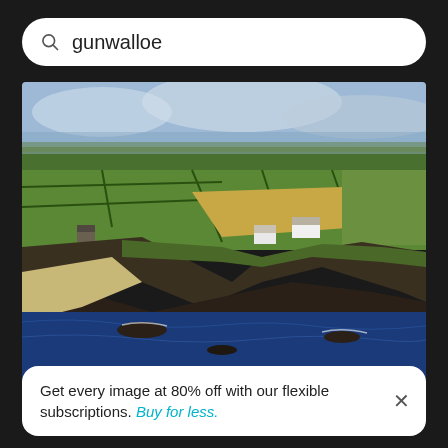gunwalloe
[Figure (photo): Aerial view of Gunwalloe coastal landscape in Cornwall, showing green agricultural fields divided by hedgerows, dramatic rocky cliffs, a sandy beach on the left, deep blue ocean waters, a small white building/church near the cliff edge, and cloudy sky above. Classic Cornish coastal scenery.]
Get every image at 80% off with our flexible subscriptions. Buy for less.